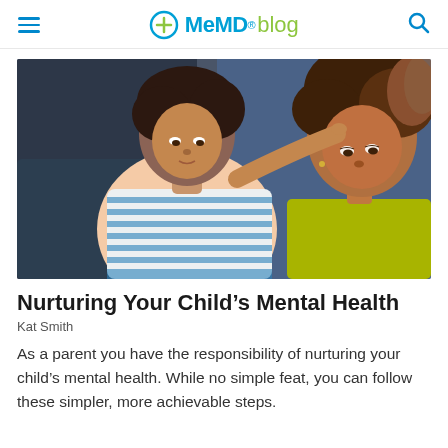MeMD blog
[Figure (photo): A mother looking with concern at her child who appears sad or thoughtful. The mother wears a blue and white striped top; the child wears a yellow-green shirt. They are seated indoors in a softly lit room.]
Nurturing Your Child's Mental Health
Kat Smith
As a parent you have the responsibility of nurturing your child's mental health. While no simple feat, you can follow these simpler, more achievable steps.